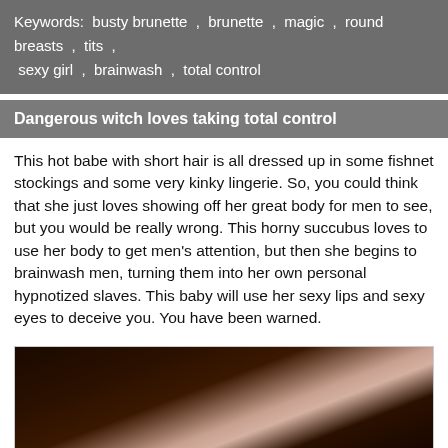Keywords:  busty brunette  ,  brunette  ,  magic  ,  round breasts  ,  tits  ,  sexy girl  ,  brainwash  ,  total control
Dangerous witch loves taking total control
This hot babe with short hair is all dressed up in some fishnet stockings and some very kinky lingerie. So, you could think that she just loves showing off her great body for men to see, but you would be really wrong. This horny succubus loves to use her body to get men's attention, but then she begins to brainwash men, turning them into her own personal hypnotized slaves. This baby will use her sexy lips and sexy eyes to deceive you. You have been warned.
[Figure (photo): Dark photograph showing a person in dark clothing, partially visible, with some skin tones visible in the middle of the image.]